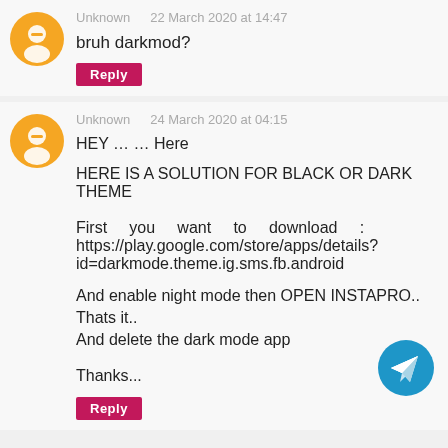Unknown   22 March 2020 at 14:47
bruh darkmod?
Reply
Unknown   24 March 2020 at 04:15
HEY … … Here

HERE IS A SOLUTION FOR BLACK OR DARK THEME

First you want to download : https://play.google.com/store/apps/details?id=darkmode.theme.ig.sms.fb.android

And enable night mode then OPEN INSTAPRO..
Thats it..
And delete the dark mode app


Thanks...
Reply